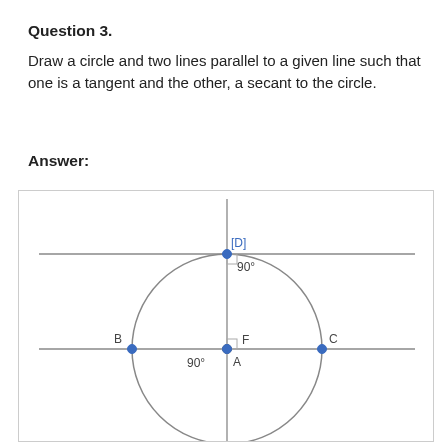Question 3.
Draw a circle and two lines parallel to a given line such that one is a tangent and the other, a secant to the circle.
Answer:
[Figure (engineering-diagram): Geometric diagram showing a circle with center F, a vertical line through D (top), F (center), and A (bottom). A horizontal tangent line passes through D at the top of the circle, and a horizontal secant line passes through B, F, and C through the middle of the circle. Point A is at the bottom of the vertical diameter. Right angle markers at D and F. Labels: D (top, with right angle square), F (center, with right angle square), A (bottom center), B (left on secant), C (right on secant). Angles of 90° shown at D and F.]